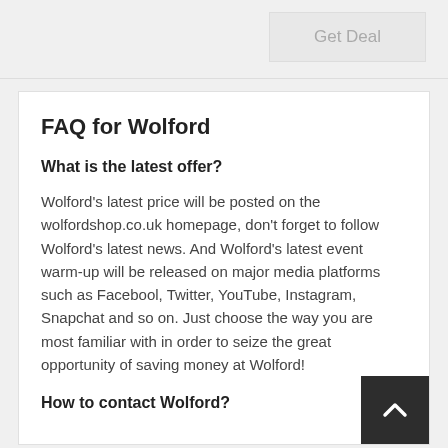Get Deal
FAQ for Wolford
What is the latest offer?
Wolford's latest price will be posted on the wolfordshop.co.uk homepage, don't forget to follow Wolford's latest news. And Wolford's latest event warm-up will be released on major media platforms such as Facebool, Twitter, YouTube, Instagram, Snapchat and so on. Just choose the way you are most familiar with in order to seize the great opportunity of saving money at Wolford!
How to contact Wolford?